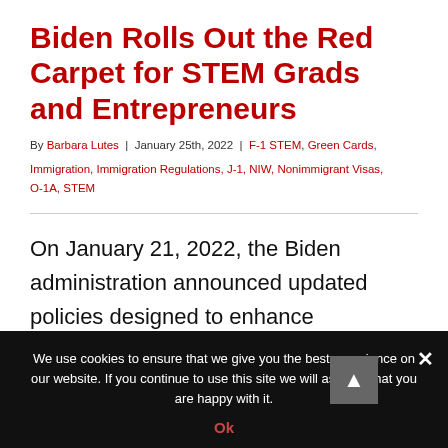Biden Rolls Out the Red Carpet for STEM Grads and Entrepreneurs
By Barbara Lutes | January 25th, 2022 | F-1 STEM, Green Cards, Immigration, Immigration Regulations, J-1, NIW, Nonimmigrant Visas, O-1A, STEM
On January 21, 2022, the Biden administration announced updated policies designed to enhance immigration
We use cookies to ensure that we give you the best experience on our website. If you continue to use this site we will assume that you are happy with it.